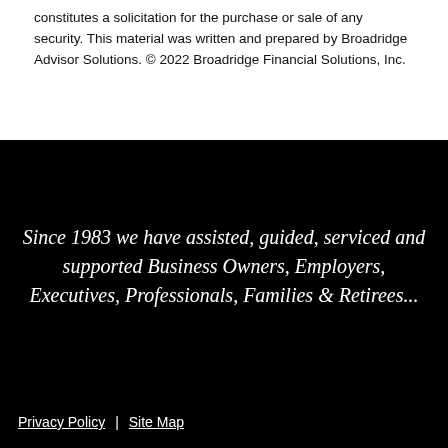constitutes a solicitation for the purchase or sale of any security. This material was written and prepared by Broadridge Advisor Solutions. © 2022 Broadridge Financial Solutions, Inc.
Since 1983 we have assisted, guided, serviced and supported Business Owners, Employers, Executives, Professionals, Families & Retirees...
Privacy Policy | Site Map